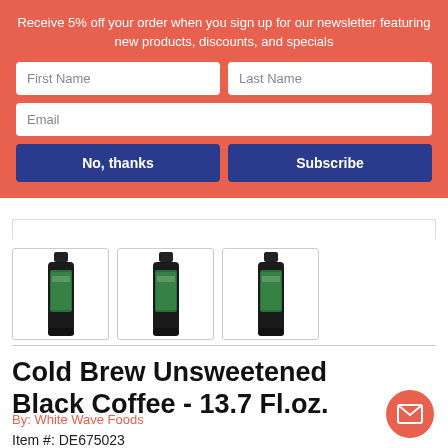Receive 5% off your order when you sign up for our newsletter featuring new products, discounts, and specials
First Name
Last Name
Email
No, thanks
Subscribe
[Figure (photo): Three dark glass bottles of Cold Brew Unsweetened Black Coffee with green labels, shown as product thumbnails]
Cold Brew Unsweetened Black Coffee - 13.7 Fl.oz.
By: White Wave Foods
Item #: DE675023